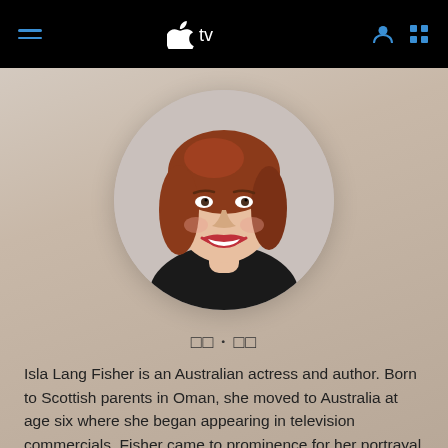Apple TV navigation bar with hamburger menu, Apple TV logo, user icon, and grid icon
[Figure (photo): Circular cropped portrait photo of Isla Fisher, a woman with auburn/red hair, red lipstick, smiling, wearing a dark top, against a light grey background.]
□□•□□
Isla Lang Fisher is an Australian actress and author. Born to Scottish parents in Oman, she moved to Australia at age six where she began appearing in television commercials. Fisher came to prominence for her portrayal of Shannon...